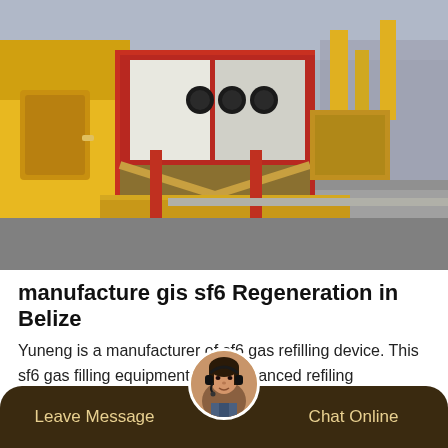[Figure (photo): Industrial yellow trucks and equipment with a red panel unit loaded on a flatbed, taken at an industrial or construction site with cranes visible in the background.]
manufacture gis sf6 Regeneration in Belize
Yuneng is a manufacturer of sf6 gas refilling device. This sf6 gas filling equipment uses advanced refiling technology for a wide range of gas treatment, gas purification and gas filling. SF6 gas is a good electrical insulator.
[Figure (photo): Customer service avatar showing a woman with a headset, circular portrait photo.]
Leave Message   Chat Online